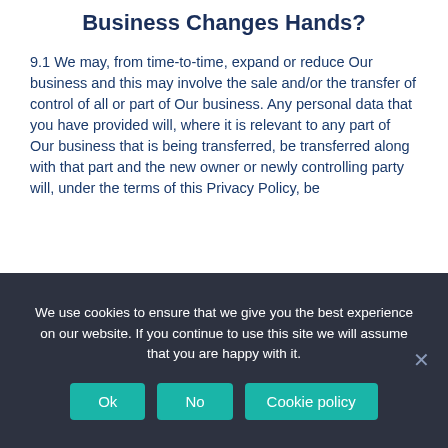Business Changes Hands?
9.1 We may, from time-to-time, expand or reduce Our business and this may involve the sale and/or the transfer of control of all or part of Our business. Any personal data that you have provided will, where it is relevant to any part of Our business that is being transferred, be transferred along with that part and the new owner or newly controlling party will, under the terms of this Privacy Policy, be
We use cookies to ensure that we give you the best experience on our website. If you continue to use this site we will assume that you are happy with it.